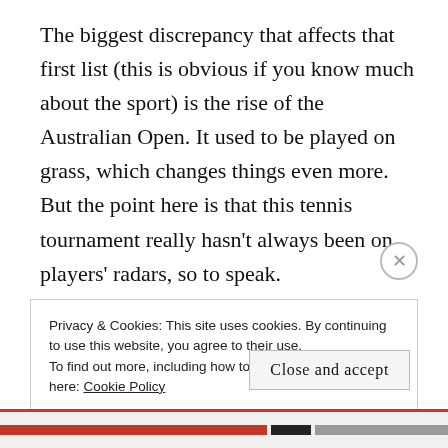The biggest discrepancy that affects that first list (this is obvious if you know much about the sport) is the rise of the Australian Open. It used to be played on grass, which changes things even more. But the point here is that this tennis tournament really hasn’t always been on players’ radars, so to speak.

The best example is Borg (sorry if I’m reiterating the obvious). He played the AO once. Conners
Privacy & Cookies: This site uses cookies. By continuing to use this website, you agree to their use.
To find out more, including how to control cookies, see here: Cookie Policy
Close and accept